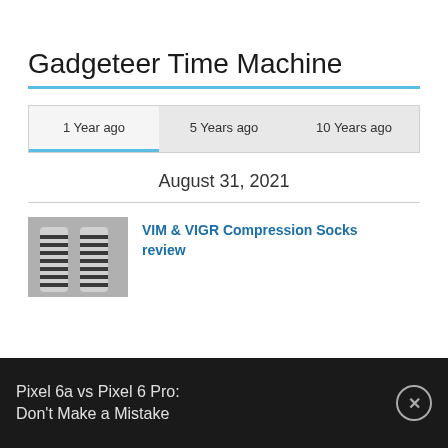Gadgeteer Time Machine
1 Year ago	5 Years ago	10 Years ago
August 31, 2021
[Figure (photo): Thumbnail image of legs wearing striped compression socks]
VIM & VIGR Compression Socks review
Pixel 6a vs Pixel 6 Pro: Don't Make a Mistake